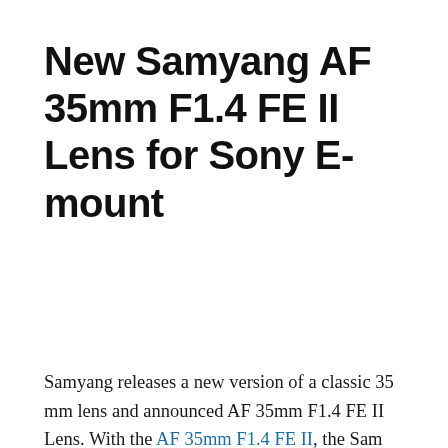New Samyang AF 35mm F1.4 FE II Lens for Sony E-mount
Samyang releases a new version of a classic 35 mm lens and announced AF 35mm F1.4 FE II Lens. With the AF 35mm F1.4 FE II, the Samyang...